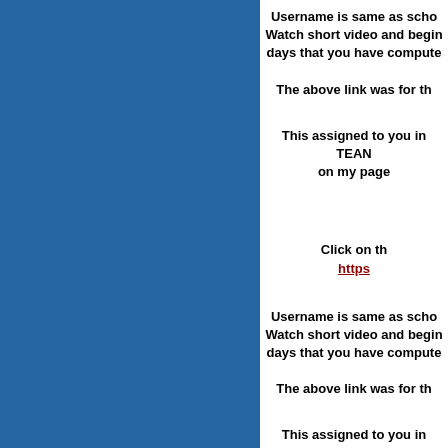[Figure (other): Blue rectangular panel on the left side of the page]
Username is same as school email. Watch short video and begin on days that you have computer access.
The above link was for th
This assigned to you in TEAMS on my page
Click on th https
Username is same as school email. Watch short video and begin on days that you have computer access.
The above link was for th
This assigned to you in TEAMS on my page